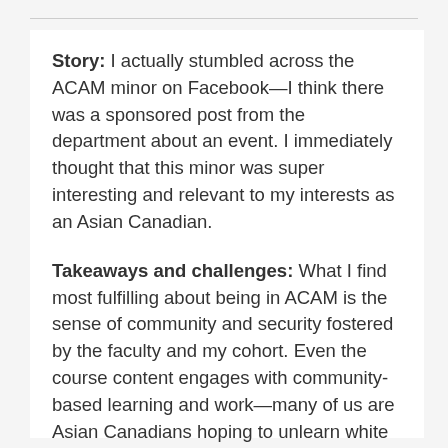Story: I actually stumbled across the ACAM minor on Facebook—I think there was a sponsored post from the department about an event. I immediately thought that this minor was super interesting and relevant to my interests as an Asian Canadian.
Takeaways and challenges: What I find most fulfilling about being in ACAM is the sense of community and security fostered by the faculty and my cohort. Even the course content engages with community-based learning and work—many of us are Asian Canadians hoping to unlearn white supremacy and reorient what it means to have such a hyphenated identity.